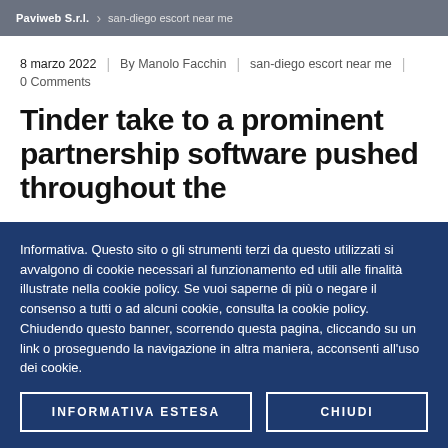Paviweb S.r.l. > san-diego escort near me
8 marzo 2022 | By Manolo Facchin | san-diego escort near me | 0 Comments
Tinder take to a prominent partnership software pushed throughout the
Informativa. Questo sito o gli strumenti terzi da questo utilizzati si avvalgono di cookie necessari al funzionamento ed utili alle finalità illustrate nella cookie policy. Se vuoi saperne di più o negare il consenso a tutti o ad alcuni cookie, consulta la cookie policy. Chiudendo questo banner, scorrendo questa pagina, cliccando su un link o proseguendo la navigazione in altra maniera, acconsenti all'uso dei cookie.
INFORMATIVA ESTESA | CHIUDI